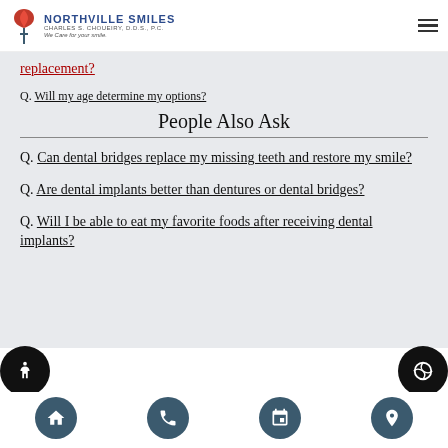NORTHVILLE SMILES | CHARLES S. CHOUEIRY, D.D.S., P.C. | We Care for your smile.
Q. replacement?
Q. Will my age determine my options?
People Also Ask
Q. Can dental bridges replace my missing teeth and restore my smile?
Q. Are dental implants better than dentures or dental bridges?
Q. Will I be able to eat my favorite foods after receiving dental implants?